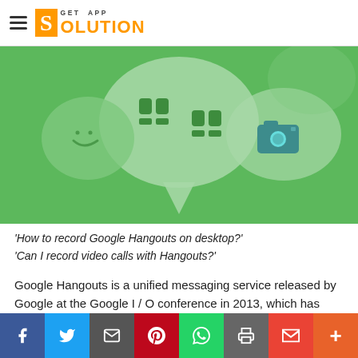GET APP SOLUTION
[Figure (illustration): Google Hangouts promotional banner on green background showing speech bubbles with a smiley face emoji, a quotation marks icon, and a camera icon]
‘How to record Google Hangouts on desktop?’
‘Can I record video calls with Hangouts?’
Google Hangouts is a unified messaging service released by Google at the Google I / O conference in 2013, which has integrated previous products such as Google Talk, Google+
[Figure (infographic): Social sharing bar with icons for Facebook, Twitter, Email, Pinterest, WhatsApp, Print, Gmail, and More (+)]